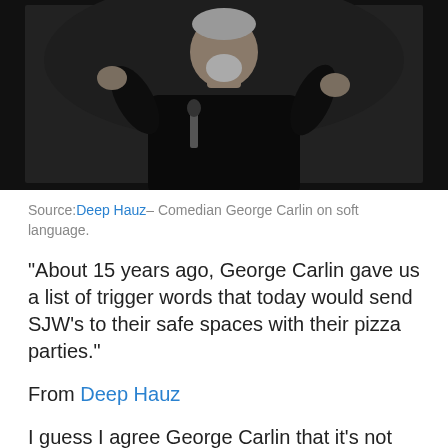[Figure (photo): A man in a black shirt performing on stage, holding a microphone, with hands raised, against a dark background.]
Source: Deep Hauz– Comedian George Carlin on soft language.
“About 15 years ago, George Carlin gave us a list of trigger words that today would send SJW’s to their safe spaces with their pizza parties.”
From Deep Hauz
I guess I agree George Carlin that it’s not the words themselves and that there’s nothing wrong with any word